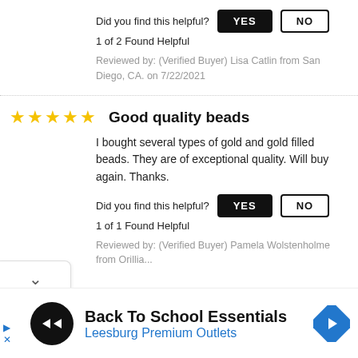Did you find this helpful?  YES  NO
1 of 2 Found Helpful
Reviewed by: (Verified Buyer) Lisa Catlin from San Diego, CA. on 7/22/2021
Good quality beads
I bought several types of gold and gold filled beads. They are of exceptional quality. Will buy again. Thanks.
Did you find this helpful?  YES  NO
1 of 1 Found Helpful
Reviewed by: (Verified Buyer) Pamela Wolstenholme from Orillia on 11/9/2020
[Figure (infographic): Advertisement banner: Back To School Essentials - Leesburg Premium Outlets with logo and navigation arrow icon]